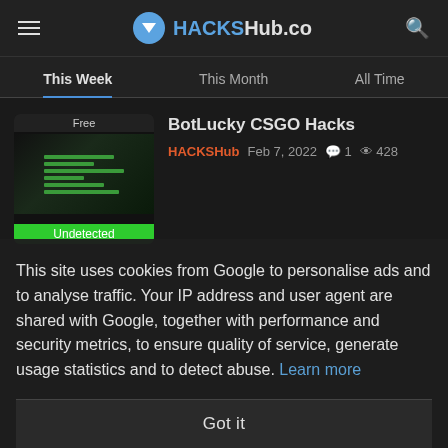HACKSHub.co
This Week
This Month
All Time
BotLucky CSGO Hacks
HACKSHub  Feb 7, 2022  1  428
[Figure (screenshot): Thumbnail image of a game hack tool interface with green text on dark background, labeled 'Free' at top and 'Undetected' at bottom]
This site uses cookies from Google to personalise ads and to analyse traffic. Your IP address and user agent are shared with Google, together with performance and security metrics, to ensure quality of service, generate usage statistics and to detect abuse. Learn more
Got it